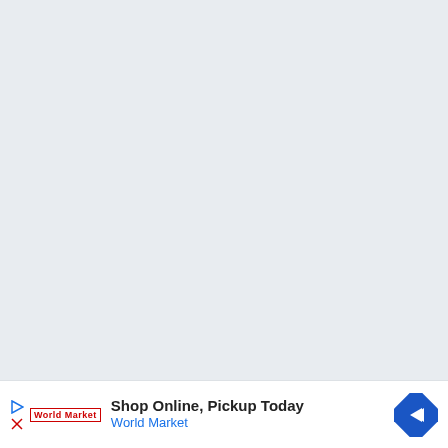[Figure (other): Large light blue-gray empty background area filling most of the page]
Shop Online, Pickup Today
World Market